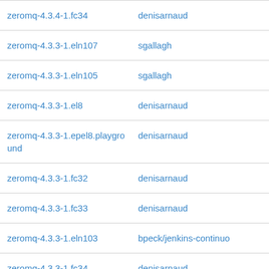| Package | Committer |
| --- | --- |
| zeromq-4.3.4-1.fc34 | denisarnaud |
| zeromq-4.3.3-1.eln107 | sgallagh |
| zeromq-4.3.3-1.eln105 | sgallagh |
| zeromq-4.3.3-1.el8 | denisarnaud |
| zeromq-4.3.3-1.epel8.playground | denisarnaud |
| zeromq-4.3.3-1.fc32 | denisarnaud |
| zeromq-4.3.3-1.fc33 | denisarnaud |
| zeromq-4.3.3-1.eln103 | bpeck/jenkins-continuo |
| zeromq-4.3.3-1.fc34 | denisarnaud |
| zeromq-4.3.2-5.eln103 | tdawson |
| zeromq-4.3.2-5.fc33 | decathorpe |